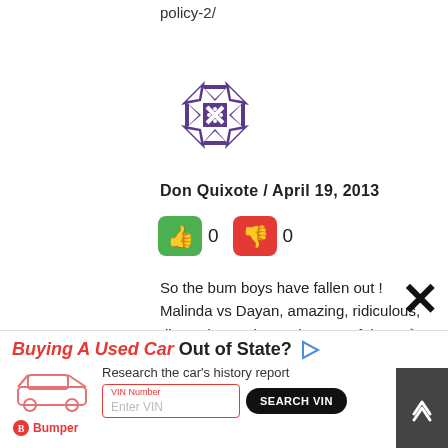policy-2/
[Figure (illustration): Purple decorative avatar/icon with geometric snowflake-like pattern]
Don Quixote / April 19, 2013
[Figure (infographic): Thumbs up (green) vote button with count 0, thumbs down (red) vote button with count 0]
So the bum boys have fallen out ! Malinda vs Dayan, amazing, ridiculous, disgusting and a total waste of time to read or comment on. Guys these people thrive on grabbing attention. Just don't respond to their posts an
[Figure (infographic): Advertisement banner: Buying A Used Car Out of State? Research the car's history report. VIN Number input. SEARCH VIN button. Bumper logo.]